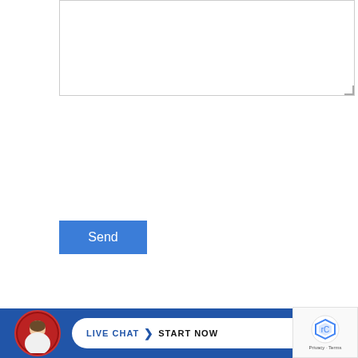[Figure (screenshot): Text area input box with resize handle]
[Figure (illustration): Blue 'Send' button]
[Figure (illustration): 24x7 Live Chat banner with 'Click here to CHAT NOW! ONLINE' text and person wearing headset]
[Figure (illustration): Blue bottom bar with avatar, 'LIVE CHAT START NOW' button, and reCAPTCHA badge]